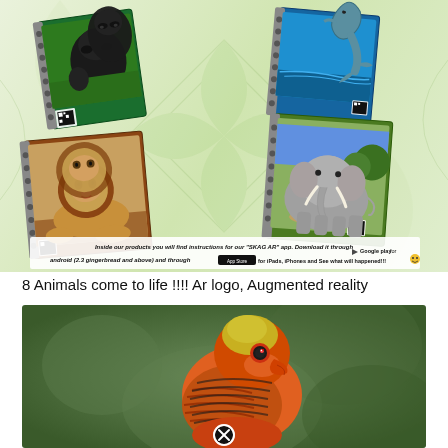[Figure (photo): Product advertisement showing four spiral-bound animal notebooks: gorilla, dolphin, lion, and elephant, each with the animal appearing to jump out of the cover. Green leaf watermark background.]
Inside our products you will find instructions for our "SKAG AR" app. Download it through Google play for android (2.3 gingerbread and above) and through App Store for iPads, iPhones and See what will happened!!!
8 Animals come to life !!!! Ar logo, Augmented reality
[Figure (photo): Close-up photo of a colorful parrot (lorikeet) with red, orange, yellow and green feathers against a blurred green background. A circular close/exit button icon is visible at the bottom center.]